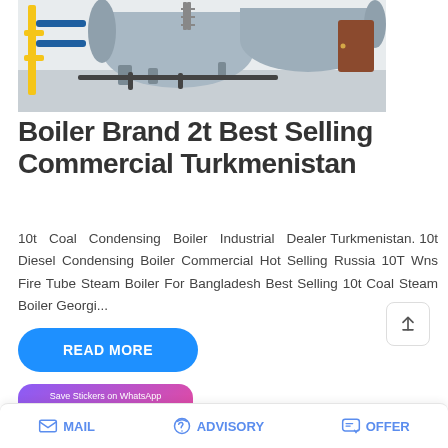[Figure (photo): Industrial boiler equipment inside a factory/warehouse setting, showing large horizontal cylindrical boilers with blue and yellow piping]
Boiler Brand 2t Best Selling Commercial Turkmenistan
10t Coal Condensing Boiler Industrial Dealer Turkmenistan. 10t Diesel Condensing Boiler Commercial Hot Selling Russia 10T Wns Fire Tube Steam Boiler For Bangladesh Best Selling 10t Coal Steam Boiler Georgi...
READ MORE
[Figure (screenshot): WhatsApp sticker saver app banner with purple-pink gradient background showing WhatsApp and messaging icons]
MAIL   ADVISORY   OFFER